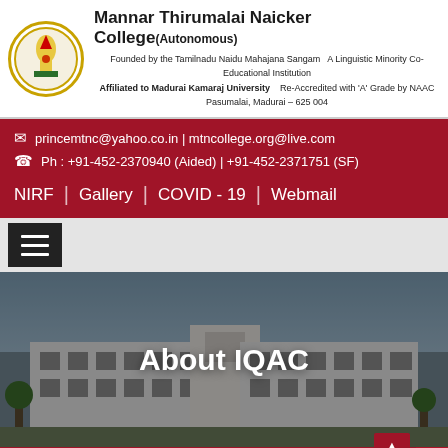Mannar Thirumalai Naicker College (Autonomous) — Founded by the Tamilnadu Naidu Mahajana Sangam | A Linguistic Minority Co-Educational Institution | Affiliated to Madurai Kamaraj University | Re-Accredited with 'A' Grade by NAAC | Pasumalai, Madurai – 625 004
princemtnc@yahoo.co.in | mtncollege.org@live.com
Ph : +91-452-2370940 (Aided) | +91-452-2371751 (SF)
NIRF | Gallery | COVID - 19 | Webmail
[Figure (screenshot): College building exterior photo with 'About IQAC' text overlay]
About IQAC